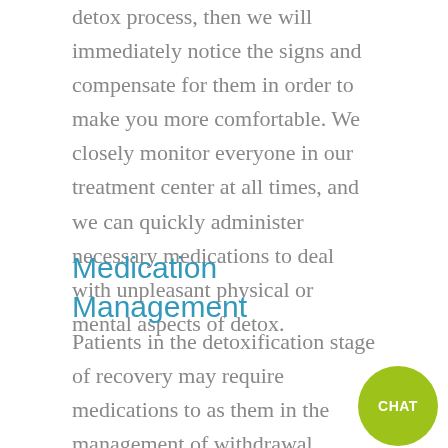detox process, then we will immediately notice the signs and compensate for them in order to make you more comfortable. We closely monitor everyone in our treatment center at all times, and we can quickly administer necessary medications to deal with unpleasant physical or mental aspects of detox.
Medication Management
Patients in the detoxification stage of recovery may require medications to as them in the management of withdrawal